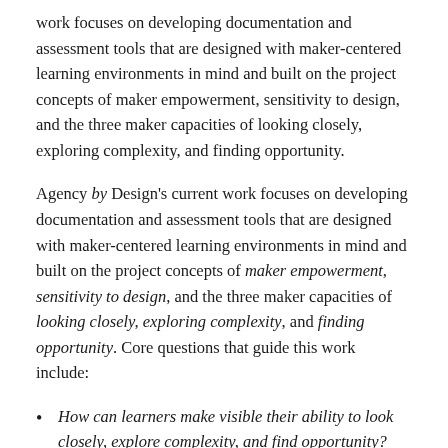work focuses on developing documentation and assessment tools that are designed with maker-centered learning environments in mind and built on the project concepts of maker empowerment, sensitivity to design, and the three maker capacities of looking closely, exploring complexity, and finding opportunity.
Agency by Design's current work focuses on developing documentation and assessment tools that are designed with maker-centered learning environments in mind and built on the project concepts of maker empowerment, sensitivity to design, and the three maker capacities of looking closely, exploring complexity, and finding opportunity. Core questions that guide this work include:
How can learners make visible their ability to look closely, explore complexity, and find opportunity?
How can teachers qualitatively measure students' performance